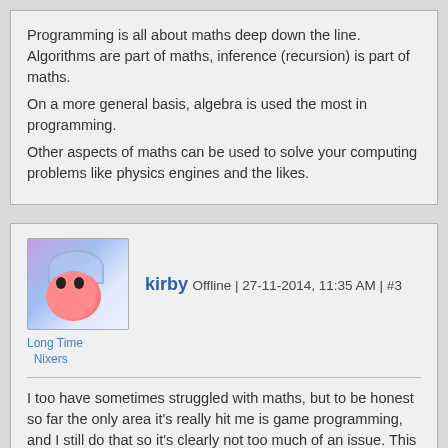Programming is all about maths deep down the line. Algorithms are part of maths, inference (recursion) is part of maths.
On a more general basis, algebra is used the most in programming.
Other aspects of maths can be used to solve your computing problems like physics engines and the likes.
kirby Offline | 27-11-2014, 11:35 AM | #3
Long Time Nixers
I too have sometimes struggled with maths, but to be honest so far the only area it's really hit me is game programming, and I still do that so it's clearly not too much of an issue. This is from the viewpoint of a first year University student mind,